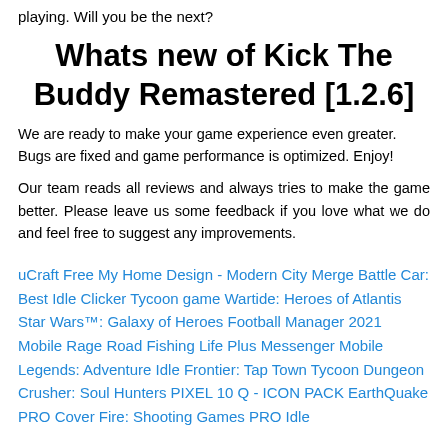playing. Will you be the next?
Whats new of Kick The Buddy Remastered [1.2.6]
We are ready to make your game experience even greater. Bugs are fixed and game performance is optimized. Enjoy!
Our team reads all reviews and always tries to make the game better. Please leave us some feedback if you love what we do and feel free to suggest any improvements.
uCraft Free My Home Design - Modern City Merge Battle Car: Best Idle Clicker Tycoon game Wartide: Heroes of Atlantis Star Wars™: Galaxy of Heroes Football Manager 2021 Mobile Rage Road Fishing Life Plus Messenger Mobile Legends: Adventure Idle Frontier: Tap Town Tycoon Dungeon Crusher: Soul Hunters PIXEL 10 Q - ICON PACK EarthQuake PRO Cover Fire: Shooting Games PRO Idle